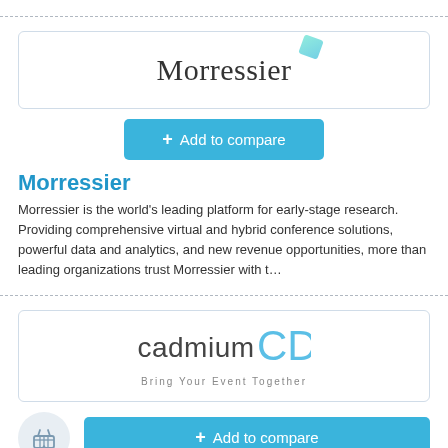[Figure (logo): Dashed horizontal divider line at top of page]
[Figure (logo): Morressier logo with company name in serif font and a teal diamond shape icon, inside a bordered card]
[Figure (other): Blue 'Add to compare' button with plus sign]
Morressier
Morressier is the world's leading platform for early-stage research. Providing comprehensive virtual and hybrid conference solutions, powerful data and analytics, and new revenue opportunities, more than leading organizations trust Morressier with t…
[Figure (logo): Dashed horizontal divider line]
[Figure (logo): CadmiumCD logo with text 'cadmiumCD' and tagline 'Bring Your Event Together' inside a bordered card]
[Figure (other): Blue 'Add to compare' button with plus sign, and a basket icon circle to its left]